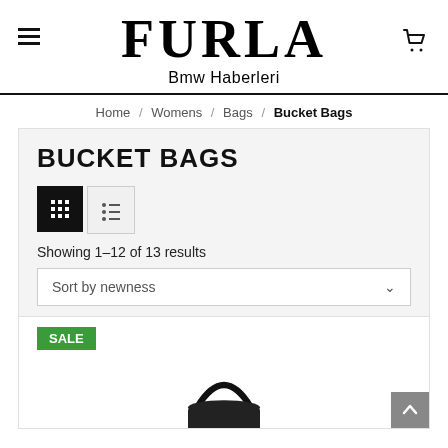FURLA
Bmw Haberleri
Home / Womens / Bags / Bucket Bags
BUCKET BAGS
Showing 1–12 of 13 results
Sort by newness
[Figure (photo): A black bucket bag shown from above against a white background, with a SALE badge in the lower-left corner.]